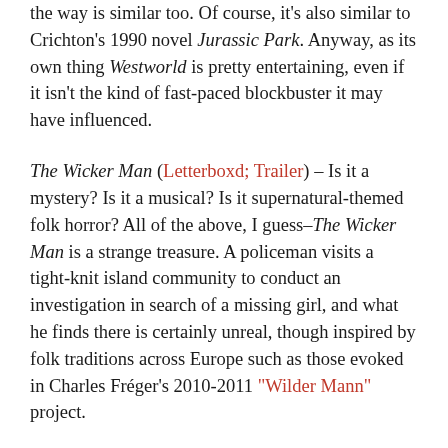the way is similar too. Of course, it's also similar to Crichton's 1990 novel Jurassic Park. Anyway, as its own thing Westworld is pretty entertaining, even if it isn't the kind of fast-paced blockbuster it may have influenced.
The Wicker Man (Letterboxd; Trailer) – Is it a mystery? Is it a musical? Is it supernatural-themed folk horror? All of the above, I guess–The Wicker Man is a strange treasure. A policeman visits a tight-knit island community to conduct an investigation in search of a missing girl, and what he finds there is certainly unreal, though inspired by folk traditions across Europe such as those evoked in Charles Fréger's 2010-2011 "Wilder Mann" project.
Idaho Transfer (Letterboxd) – More low key 70s naturalism, in this case directed by Peter Fonda, this is a very quiet, neat little time travel / survivalist film set near Idaho's Craters of the Moon lava fields in the